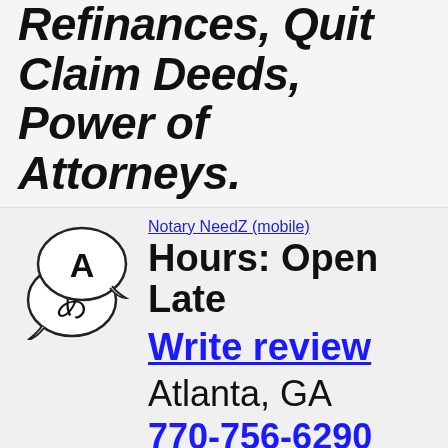I'm familiar with Refinances, Quit Claim Deeds, Power of Attorneys.
[Figure (logo): Translation/language service logo with two speech bubbles: one containing 'A' and one containing Japanese character 'あ']
Notary NeedZ (mobile)
Hours: Open Late
Write review
Atlanta, GA
770-756-6290